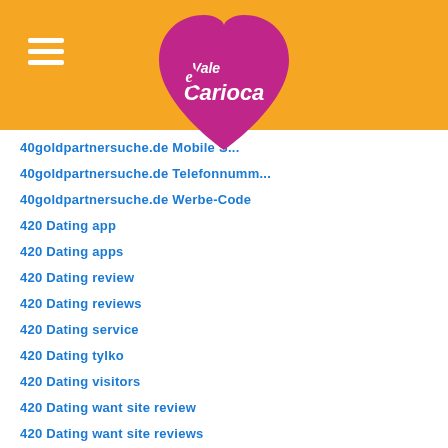[Figure (logo): Vale Carioca logo - purple heart shape with white text 'Vale Carioca' and a small 'e' letter]
40goldpartnersuche.de Mobile S...
40goldpartnersuche.de Telefonnumm...
40goldpartnersuche.de Werbe-Code
420 Dating app
420 Dating apps
420 Dating review
420 Dating reviews
420 Dating service
420 Dating tylko
420 Dating visitors
420 Dating want site review
420 Dating want site reviews
420 Dating Zaloguj sie
420 Singles click to find out more